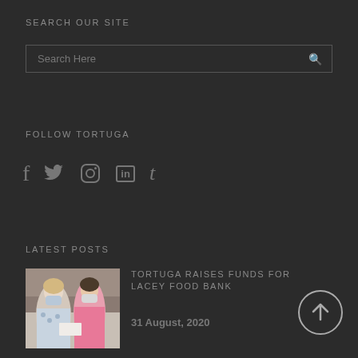SEARCH OUR SITE
[Figure (screenshot): Search bar with placeholder text 'Search Here' and a search icon on a dark background]
FOLLOW TORTUGA
[Figure (infographic): Social media icons: Facebook (f), Twitter (bird), Instagram (camera circle), LinkedIn (in), Tumblr (t)]
LATEST POSTS
[Figure (photo): Two women wearing face masks, one in a floral top and one in a pink top, appearing to exchange a check or document indoors]
TORTUGA RAISES FUNDS FOR LACEY FOOD BANK
31 August, 2020